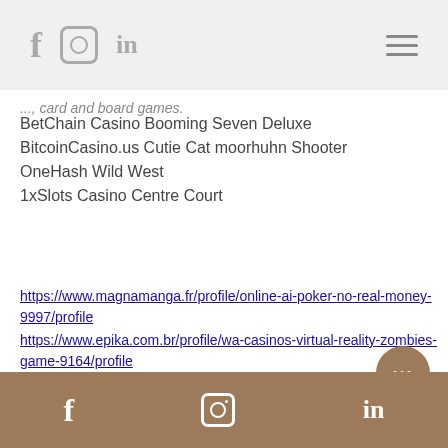f  [instagram icon]  in  [hamburger menu]
... card and board games.
BetChain Casino Booming Seven Deluxe
BitcoinCasino.us Cutie Cat moorhuhn Shooter
OneHash Wild West
1xSlots Casino Centre Court
https://www.magnamanga.fr/profile/online-ai-poker-no-real-money-9997/profile
https://www.epika.com.br/profile/wa-casinos-virtual-reality-zombies-game-9164/profile
https://www.crowdiary.com/profile/how-do-casinos-rate-slot-players-8790/profile
https://www.bewhite.in/profile/casino-games-free-flash-239/profile
[facebook icon] [instagram icon] [linkedin icon]